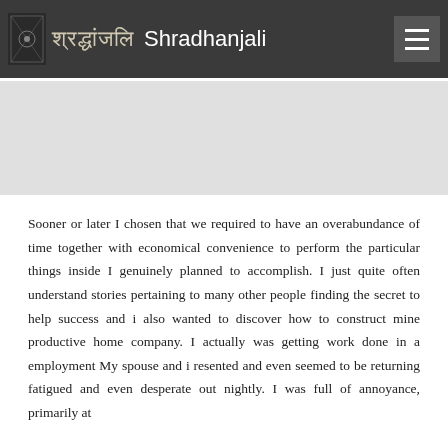श्रद्धांजलि Shradhanjali
[Figure (other): Grey banner/advertisement placeholder area]
Sooner or later I chosen that we required to have an overabundance of time together with economical convenience to perform the particular things inside I genuinely planned to accomplish. I just quite often understand stories pertaining to many other people finding the secret to help success and i also wanted to discover how to construct mine productive home company. I actually was getting work done in a employment My spouse and i resented and even seemed to be returning fatigued and even desperate out nightly. I was full of annoyance, primarily at